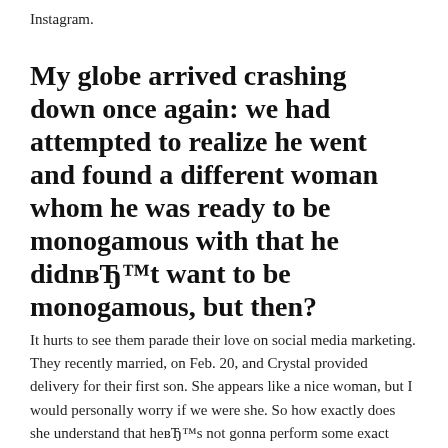Instagram.
My globe arrived crashing down once again: we had attempted to realize he went and found a different woman whom he was ready to be monogamous with that he didnвЂ™t want to be monogamous, but then?
It hurts to see them parade their love on social media marketing. They recently married, on Feb. 20, and Crystal provided delivery for their first son. She appears like a nice woman, but I would personally worry if we were she. So how exactly does she understand that heвЂ™s not gonna perform some exact same thing to her that he did